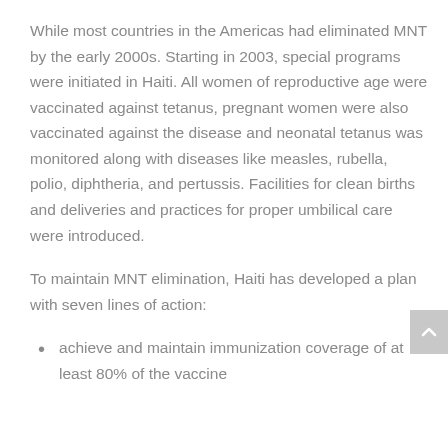While most countries in the Americas had eliminated MNT by the early 2000s. Starting in 2003, special programs were initiated in Haiti. All women of reproductive age were vaccinated against tetanus, pregnant women were also vaccinated against the disease and neonatal tetanus was monitored along with diseases like measles, rubella, polio, diphtheria, and pertussis. Facilities for clean births and deliveries and practices for proper umbilical care were introduced.
To maintain MNT elimination, Haiti has developed a plan with seven lines of action:
achieve and maintain immunization coverage of at least 80% of the vaccine